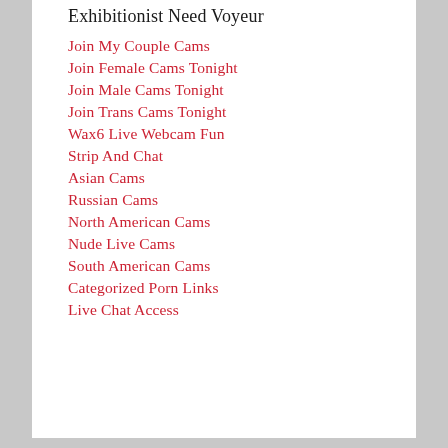Exhibitionist Need Voyeur
Join My Couple Cams
Join Female Cams Tonight
Join Male Cams Tonight
Join Trans Cams Tonight
Wax6 Live Webcam Fun
Strip And Chat
Asian Cams
Russian Cams
North American Cams
Nude Live Cams
South American Cams
Categorized Porn Links
Live Chat Access